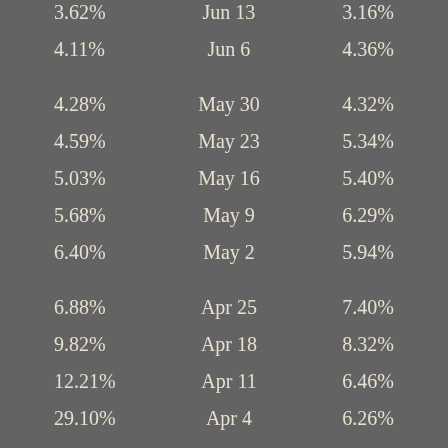|  | Date |  |
| --- | --- | --- |
| 2.59% | Jun 20 | 2.90% |
| 3.62% | Jun 13 | 3.16% |
| 4.11% | Jun 6 | 4.36% |
| 4.28% | May 30 | 4.32% |
| 4.59% | May 23 | 5.34% |
| 5.03% | May 16 | 5.40% |
| 5.68% | May 9 | 6.29% |
| 6.40% | May 2 | 5.94% |
| 6.88% | Apr 25 | 7.40% |
| 9.82% | Apr 18 | 8.32% |
| 12.21% | Apr 11 | 6.46% |
| 29.10% | Apr 4 | 6.26% |
| 79.10% | Mar 28 | 8.98% |